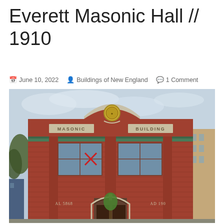Everett Masonic Hall // 1910
June 10, 2022   Buildings of New England   1 Comment
[Figure (photo): Photograph of the Everett Masonic Hall, a red brick building from 1910. The facade features 'MASONIC' and 'BUILDING' inscribed in stone panels on the upper portion, a decorative curved parapet with a circular medallion at the top center, green patinated copper trim, arched entry doorway at ground level, and inscriptions 'AL 5868' and 'AD 190' on either side of the entrance. A red X marker is visible on the building facade. Trees and neighboring buildings are visible on the sides.]